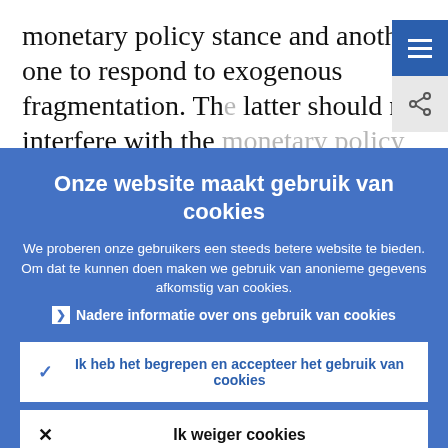monetary policy stance and another one to respond to exogenous fragmentation. The latter should not interfere with the monetary policy stance. Fragmentation is...
Onze website maakt gebruik van cookies
We proberen onze gebruikers een steeds betere website te bieden. Om dat te kunnen doen maken we gebruik van anonieme gegevens afkomstig van cookies.
▶ Nadere informatie over ons gebruik van cookies
✓ Ik heb het begrepen en accepteer het gebruik van cookies
✕ Ik weiger cookies